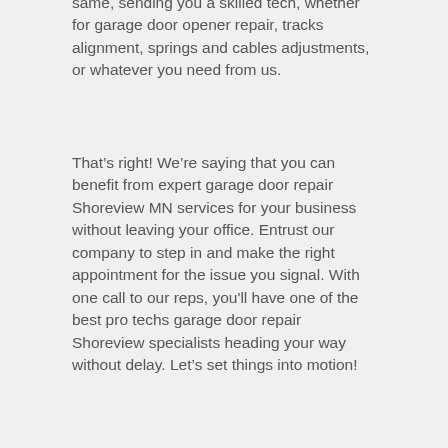same, sending you a skilled tech, whether for garage door opener repair, tracks alignment, springs and cables adjustments, or whatever you need from us.
That’s right! We’re saying that you can benefit from expert garage door repair Shoreview MN services for your business without leaving your office. Entrust our company to step in and make the right appointment for the issue you signal. With one call to our reps, you'll have one of the best pro techs garage door repair Shoreview specialists heading your way without delay. Let’s set things into motion!